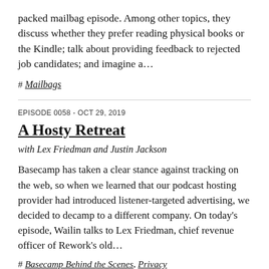packed mailbag episode. Among other topics, they discuss whether they prefer reading physical books or the Kindle; talk about providing feedback to rejected job candidates; and imagine a…
# Mailbags
EPISODE 0058 - OCT 29, 2019
A Hosty Retreat
with Lex Friedman and Justin Jackson
Basecamp has taken a clear stance against tracking on the web, so when we learned that our podcast hosting provider had introduced listener-targeted advertising, we decided to decamp to a different company. On today's episode, Wailin talks to Lex Friedman, chief revenue officer of Rework's old…
# Basecamp Behind the Scenes, Privacy